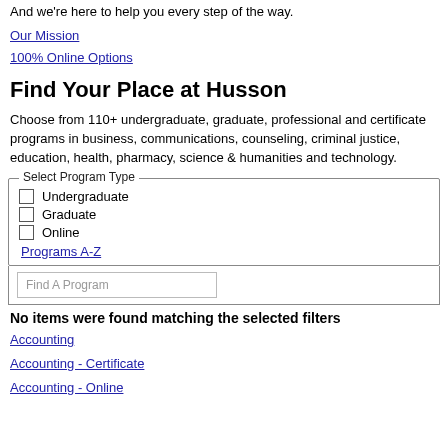And we're here to help you every step of the way.
Our Mission
100% Online Options
Find Your Place at Husson
Choose from 110+ undergraduate, graduate, professional and certificate programs in business, communications, counseling, criminal justice, education, health, pharmacy, science & humanities and technology.
Select Program Type — Undergraduate, Graduate, Online, Programs A-Z
Find A Program
No items were found matching the selected filters
Accounting
Accounting - Certificate
Accounting - Online